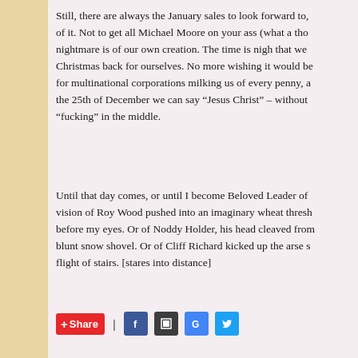Still, there are always the January sales to look forward to, of it. Not to get all Michael Moore on your ass (what a tho nightmare is of our own creation. The time is nigh that we Christmas back for ourselves. No more wishing it would be for multinational corporations milking us of every penny, a the 25th of December we can say "Jesus Christ" – without "fucking" in the middle.
Until that day comes, or until I become Beloved Leader of vision of Roy Wood pushed into an imaginary wheat thresh before my eyes. Or of Noddy Holder, his head cleaved from blunt snow shovel. Or of Cliff Richard kicked up the arse s flight of stairs. [stares into distance]
Share | [social media share buttons: Facebook, Bookmarks, Google, Twitter]